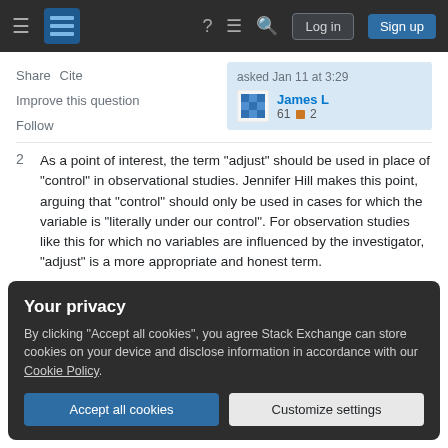Stack Exchange navigation bar with Log in and Sign up buttons
Share   Cite
Improve this question
Follow
asked Jan 11 at 3:29
James L
61  2
2  As a point of interest, the term "adjust" should be used in place of "control" in observational studies. Jennifer Hill makes this point, arguing that "control" should only be used in cases for which the variable is "literally under our control". For observation studies like this for which no variables are influenced by the investigator, "adjust" is a more appropriate and honest term.
Your privacy
By clicking "Accept all cookies", you agree Stack Exchange can store cookies on your device and disclose information in accordance with our Cookie Policy.
Accept all cookies
Customize settings
My two cents: Adjust your estimate for sex by